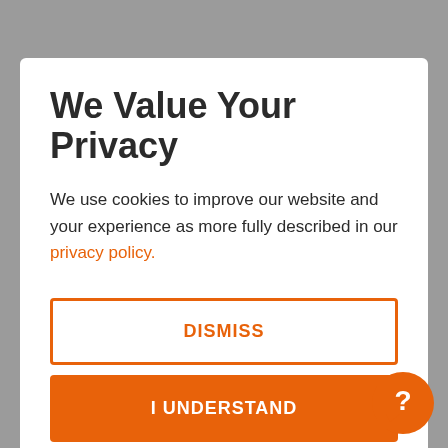We Value Your Privacy
We use cookies to improve our website and your experience as more fully described in our privacy policy.
DISMISS
I UNDERSTAND
Redemption URL: (redemption number)
To Redeem
(Redemption instructions specific to the brand goes here)